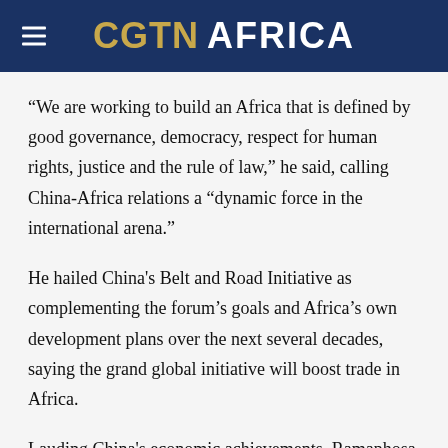CGTN AFRICA
“We are working to build an Africa that is defined by good governance, democracy, respect for human rights, justice and the rule of law,” he said, calling China-Africa relations a “dynamic force in the international arena.”
He hailed China's Belt and Road Initiative as complementing the forum’s goals and Africa’s own development plans over the next several decades, saying the grand global initiative will boost trade in Africa.
Lauding China's economic achievements, Ramaphosa said China and Africa are working